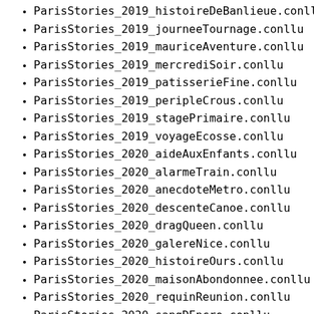ParisStories_2019_histoireDeBanlieue.conllu
ParisStories_2019_journeeTournage.conllu
ParisStories_2019_mauriceAventure.conllu
ParisStories_2019_mercrediSoir.conllu
ParisStories_2019_patisserieFine.conllu
ParisStories_2019_peripleCrous.conllu
ParisStories_2019_stagePrimaire.conllu
ParisStories_2019_voyageEcosse.conllu
ParisStories_2020_aideAuxEnfants.conllu
ParisStories_2020_alarmeTrain.conllu
ParisStories_2020_anecdoteMetro.conllu
ParisStories_2020_descenteCanoe.conllu
ParisStories_2020_dragQueen.conllu
ParisStories_2020_galereNice.conllu
ParisStories_2020_histoireOurs.conllu
ParisStories_2020_maisonAbondonnee.conllu
ParisStories_2020_requinReunion.conllu
ParisStories_2020_sangDEncre.conllu
ParisStories_2021_discussionSansAbris.conllu
ParisStories_2021_maintenantJeSais.conllu
ParisStories_2021_neesLeMememMois.conllu